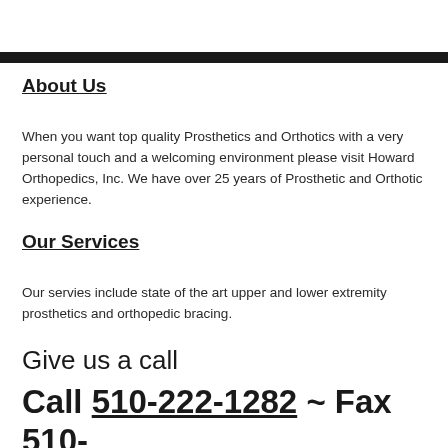About Us
When you want top quality Prosthetics and Orthotics with a very personal touch and a welcoming environment please visit Howard Orthopedics, Inc. We have over 25 years of Prosthetic and Orthotic experience.
Our Services
Our servies include state of the art upper and lower extremity prosthetics and orthopedic bracing.
Give us a call
Call 510-222-1282 ~ Fax 510-